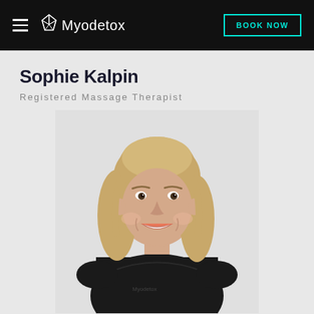Myodetox — BOOK NOW
Sophie Kalpin
Registered Massage Therapist
[Figure (photo): Professional headshot of Sophie Kalpin, a young woman with long blonde wavy hair, smiling broadly, wearing a black Myodetox branded top, photographed against a light grey background.]